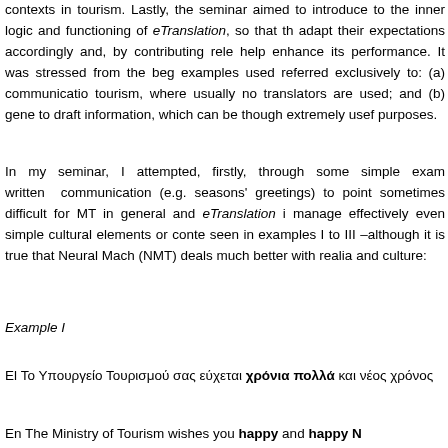contexts in tourism. Lastly, the seminar aimed to introduce to the inner logic and functioning of eTranslation, so that they adapt their expectations accordingly and, by contributing relevant help enhance its performance. It was stressed from the beginning examples used referred exclusively to: (a) communication in tourism, where usually no translators are used; and (b) general to draft information, which can be though extremely useful for purposes.
In my seminar, I attempted, firstly, through some simple examples written communication (e.g. seasons' greetings) to point out sometimes difficult for MT in general and eTranslation in particular manage effectively even simple cultural elements or contextual elements seen in examples I to III –although it is true that Neural Machine Translation (NMT) deals much better with realia and culture:
Example I
El Το Υπουργείο Τουρισμού σας εύχεται χρόνια πολλά καί καλό νέος χρόνος
En The Ministry of Tourism wishes you happy and happy New...